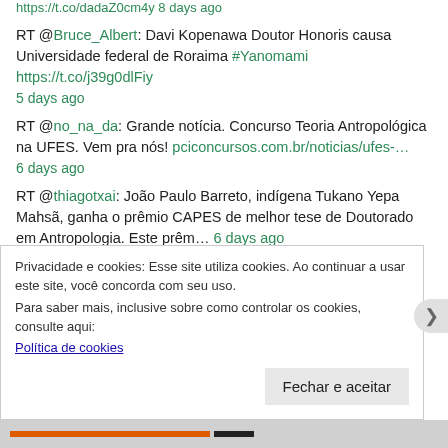https://t.co/... 4 days ago
RT @Bruce_Albert: Davi Kopenawa Doutor Honoris causa Universidade federal de Roraima #Yanomami https://t.co/j39g0dlFiy
5 days ago
RT @no_na_da: Grande notícia. Concurso Teoria Antropológica na UFES. Vem pra nós! pciconcursos.com.br/noticias/ufes-…
6 days ago
RT @thiagotxai: João Paulo Barreto, indígena Tukano Yepa Mahsã, ganha o prêmio CAPES de melhor tese de Doutorado em Antropologia. Este prêm… 6 days ago
RT @Momentswithbren: Here are 500 Undergraduate Master's, PhD and Postdoctoral #Scholarships, #Fellowships, Graduate Assistantships, Tuitio… 1 week ago
Privacidade e cookies: Esse site utiliza cookies. Ao continuar a usar este site, você concorda com seu uso.
Para saber mais, inclusive sobre como controlar os cookies, consulte aqui:
Política de cookies
Fechar e aceitar